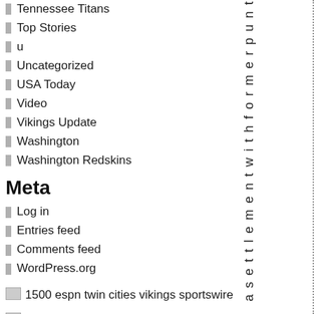Tennessee Titans
Top Stories
u
Uncategorized
USA Today
Video
Vikings Update
Washington
Washington Redskins
Meta
Log in
Entries feed
Comments feed
WordPress.org
1500 espn twin cities vikings sportswire
kfan sports radio - official vikings station
minnesota vikings web site
a s e t t l e m e n t w i t h f o r m e r p u n t